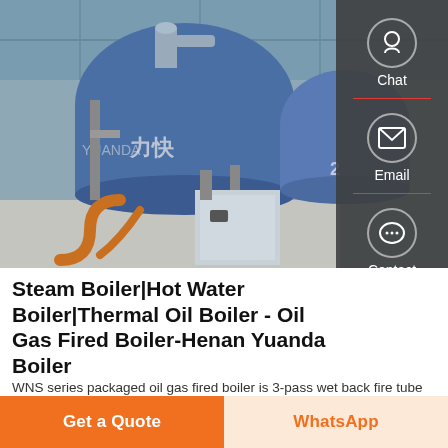[Figure (photo): Industrial boiler room with large blue cylindrical WNS series packaged oil gas fired boilers on a concrete floor inside a factory building. Orange pipe connections visible in foreground. A sidebar with chat, email, and contact icons overlays the right side of the photo.]
Steam Boiler|Hot Water Boiler|Thermal Oil Boiler - Oil Gas Fired Boiler-Henan Yuanda Boiler
WNS series packaged oil gas fired boiler is 3-pass wet back fire tube boiler, can produce steam or hot water
Get a Quote
WhatsApp